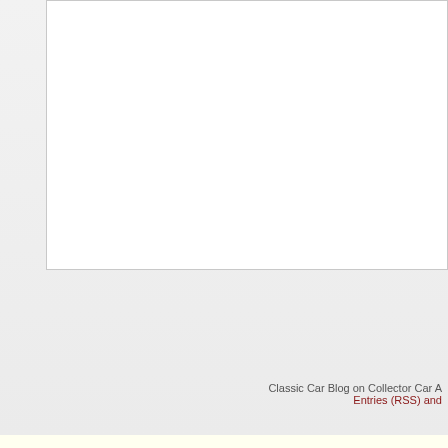[Figure (other): White content box with border, partially visible, cropped at top]
Classic Car Blog on Collector Car A
Entries (RSS) and